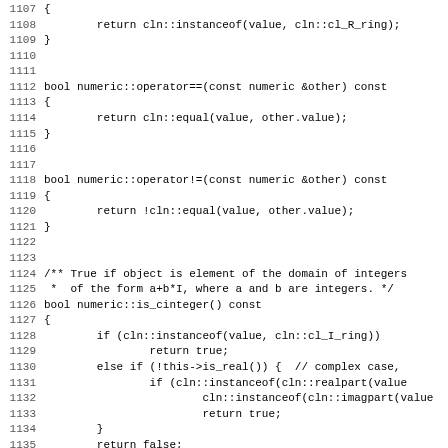Code listing lines 1107-1139, C++ source code for numeric class methods including instanceof, operator==, operator!=, and is_cinteger()